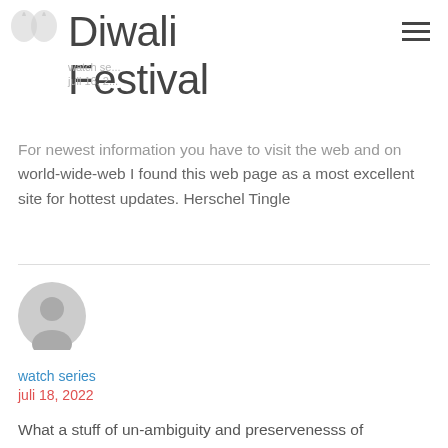Diwali Festival
[Figure (logo): Faded bird/logo placeholder icon top left]
watch series
juli 16, 2...
For newest information you have to visit the web and on world-wide-web I found this web page as a most excellent site for hottest updates. Herschel Tingle
[Figure (illustration): Generic user avatar icon - gray circle with person silhouette]
watch series
juli 18, 2022
What a stuff of un-ambiguity and preservenesss of